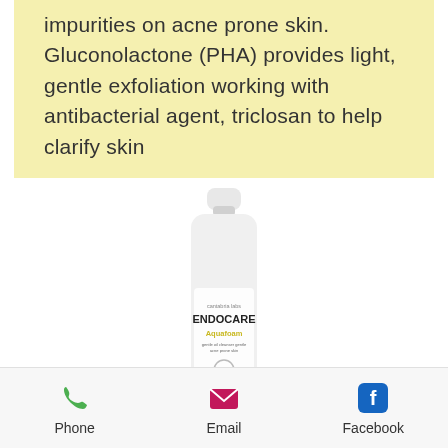impurities on acne prone skin. Gluconolactone (PHA) provides light, gentle exfoliation working with antibacterial agent, triclosan to help clarify skin
[Figure (photo): Endocare Aquafoam product bottle on white background]
[Figure (other): Back to top arrow button, gray background with white chevron up arrow]
Phone
Email
Facebook